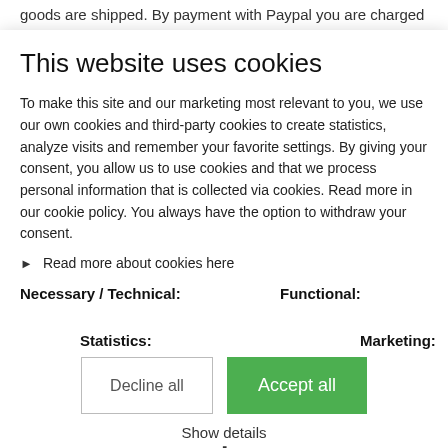goods are shipped. By payment with Paypal you are charged
This website uses cookies
To make this site and our marketing most relevant to you, we use our own cookies and third-party cookies to create statistics, analyze visits and remember your favorite settings. By giving your consent, you allow us to use cookies and that we process personal information that is collected via cookies. Read more in our cookie policy. You always have the option to withdraw your consent.
Read more about cookies here
Necessary / Technical:
Functional:
Statistics:
Marketing:
Decline all
Accept all
Show details
or mailbox!